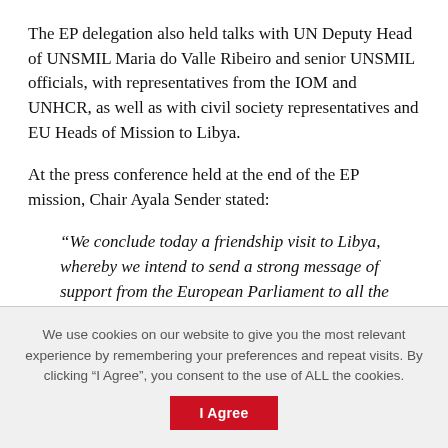The EP delegation also held talks with UN Deputy Head of UNSMIL Maria do Valle Ribeiro and senior UNSMIL officials, with representatives from the IOM and UNHCR, as well as with civil society representatives and EU Heads of Mission to Libya.
At the press conference held at the end of the EP mission, Chair Ayala Sender stated:
“We conclude today a friendship visit to Libya, whereby we intend to send a strong message of support from the European Parliament to all the Libyan people. The UN-facilitated, Libyan-owned
We use cookies on our website to give you the most relevant experience by remembering your preferences and repeat visits. By clicking “I Agree”, you consent to the use of ALL the cookies.